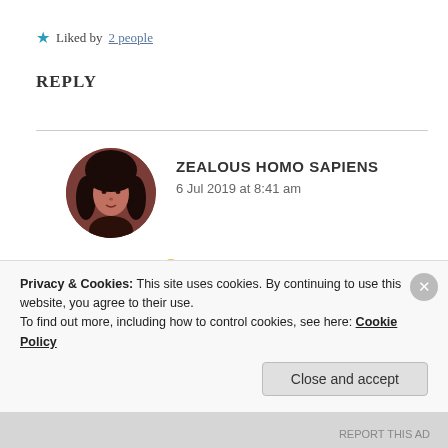★ Liked by 2 people
REPLY
[Figure (photo): Circular avatar photo of a person with dark hair against a dark reddish-brown background]
ZEALOUS HOMO SAPIENS
6 Jul 2019 at 8:41 am
Thank you Saania! 😁
★ Liked by 1 person
Privacy & Cookies: This site uses cookies. By continuing to use this website, you agree to their use.
To find out more, including how to control cookies, see here: Cookie Policy
Close and accept